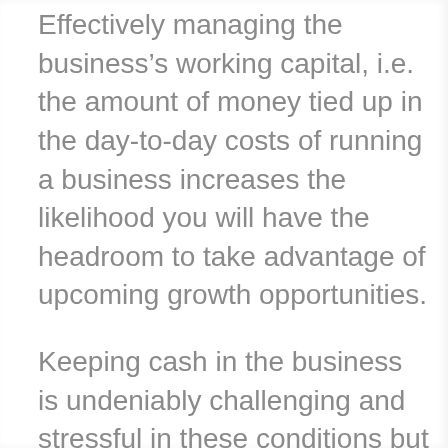Effectively managing the business’s working capital, i.e. the amount of money tied up in the day-to-day costs of running a business increases the likelihood you will have the headroom to take advantage of upcoming growth opportunities.
Keeping cash in the business is undeniably challenging and stressful in these conditions but undertaking robust planning and follow-through can help you to see that silver lining.
Firstly, businesses can use the Pay As You Grow scheme as they start repayment on Bounce Back Loans to HMRC partners as this allows lower…